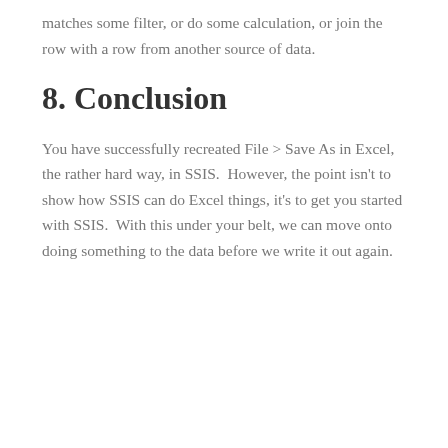matches some filter, or do some calculation, or join the row with a row from another source of data.
8. Conclusion
You have successfully recreated File > Save As in Excel, the rather hard way, in SSIS.  However, the point isn't to show how SSIS can do Excel things, it's to get you started with SSIS.  With this under your belt, we can move onto doing something to the data before we write it out again.